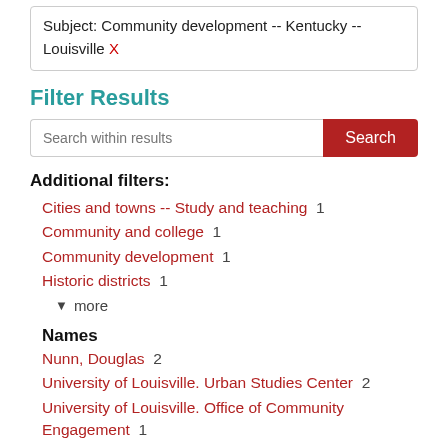Subject: Community development -- Kentucky -- Louisville X
Filter Results
Search within results [Search button]
Additional filters:
Cities and towns -- Study and teaching  1
Community and college  1
Community development  1
Historic districts  1
▼ more
Names
Nunn, Douglas  2
University of Louisville. Urban Studies Center  2
University of Louisville. Office of Community Engagement  1